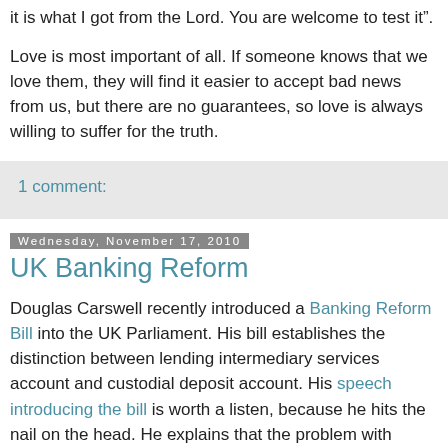it is what I got from the Lord. You are welcome to test it”.
Love is most important of all. If someone knows that we love them, they will find it easier to accept bad news from us, but there are no guarantees, so love is always willing to suffer for the truth.
1 comment:
Wednesday, November 17, 2010
UK Banking Reform
Douglas Carswell recently introduced a Banking Reform Bill into the UK Parliament. His bill establishes the distinction between lending intermediary services account and custodial deposit account. His speech introducing the bill is worth a listen, because he hits the nail on the head. He explains that the problem with banking is that when I put my money in the bank, I think that I still own it, but banking law says that the bank owns it. That legal twist means the money has two